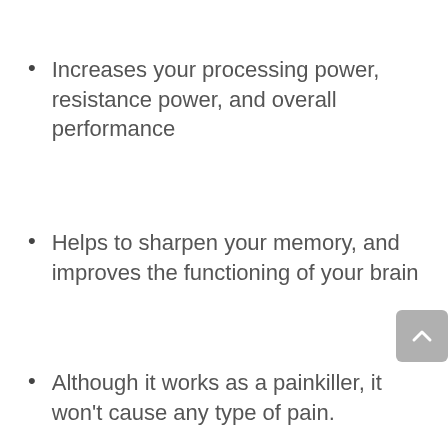Increases your processing power, resistance power, and overall performance
Helps to sharpen your memory, and improves the functioning of your brain
Although it works as a painkiller, it won't cause any type of pain.